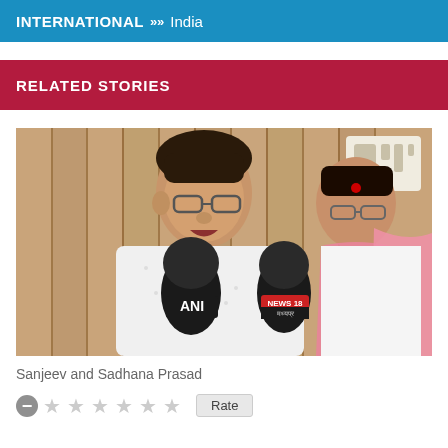INTERNATIONAL >> India
RELATED STORIES
[Figure (photo): Sanjeev and Sadhana Prasad being interviewed with ANI and NEWS18 microphones in front of a wooden panel background]
Sanjeev and Sadhana Prasad